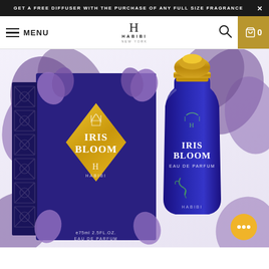GET A FREE DIFFUSER WITH THE PURCHASE OF ANY FULL SIZE FRAGRANCE
[Figure (screenshot): Navigation bar with hamburger menu, MENU text, Habibi New York logo centered, search icon, and gold cart icon with 0]
[Figure (photo): Product photo of Iris Bloom by Habibi New York - showing the blue and gold box packaging alongside a blue glass perfume bottle with gold cap, labeled Iris Bloom Eau de Parfum 75ml 2.5 FL OZ]